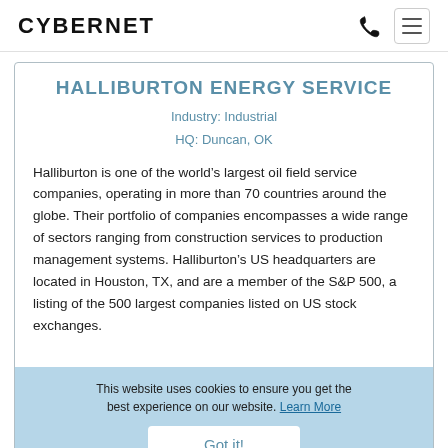CYBERNET
HALLIBURTON ENERGY SERVICE
Industry: Industrial
HQ: Duncan, OK
Halliburton is one of the world’s largest oil field service companies, operating in more than 70 countries around the globe. Their portfolio of companies encompasses a wide range of sectors ranging from construction services to production management systems. Halliburton’s US headquarters are located in Houston, TX, and are a member of the S&P 500, a listing of the 500 largest companies listed on US stock exchanges.
This website uses cookies to ensure you get the best experience on our website. Learn More
Got it!